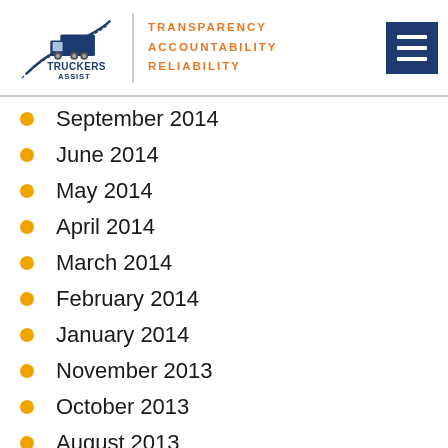[Figure (logo): Truckers Assist logo with truck illustration and taglines: TRANSPARENCY, ACCOUNTABILITY, RELIABILITY]
September 2014
June 2014
May 2014
April 2014
March 2014
February 2014
January 2014
November 2013
October 2013
August 2013